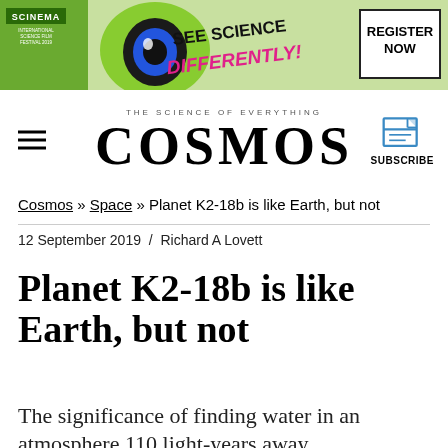[Figure (illustration): Scinema International Science Film Festival banner with green background, cartoon eye, 'SEE SCIENCE DIFFERENTLY!' text, and 'REGISTER NOW' button on right]
THE SCIENCE OF EVERYTHING | COSMOS | SUBSCRIBE
Cosmos » Space » Planet K2-18b is like Earth, but not
12 September 2019  /  Richard A Lovett
Planet K2-18b is like Earth, but not
The significance of finding water in an atmosphere 110 light-years away.